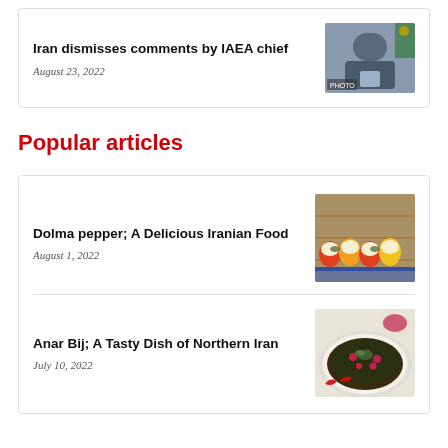Iran dismisses comments by IAEA chief
August 23, 2022
[Figure (photo): Man in uniform speaking at a podium with Iranian flag in background]
Popular articles
Dolma pepper; A Delicious Iranian Food
August 1, 2022
[Figure (photo): Colorful stuffed bell peppers (dolma) arranged on a decorative platter]
Anar Bij; A Tasty Dish of Northern Iran
July 10, 2022
[Figure (photo): Bowl of Anar Bij, a dark stew garnished with pomegranate seeds and herbs]